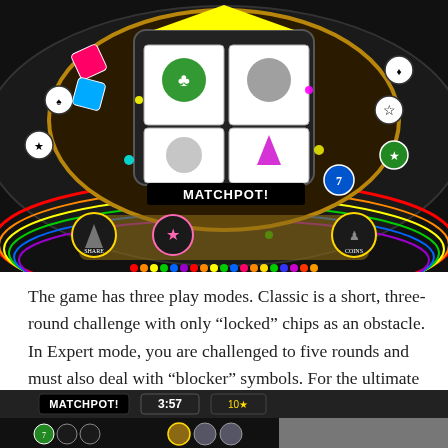[Figure (screenshot): Screenshot of a colorful casino-style slot machine game showing a 'MATCHPOT!' win screen with spinning reels, colorful chips and icons arranged in a circular pattern on a black background with rainbow accents.]
The game has three play modes. Classic is a short, three-round challenge with only “locked” chips as an obstacle. In Expert mode, you are challenged to five rounds and must also deal with “blocker” symbols. For the ultimate challenge, try 1k Blitz and see how efficiently you can score 1,000 bonus chips!
[Figure (screenshot): Bottom partial screenshot of the same casino-style game showing 'MATCHPOT!' text, a timer reading 3:57, a score counter, and game icons at the bottom of the page.]